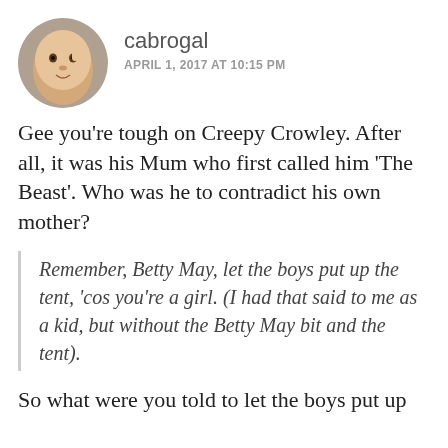cabrogal
APRIL 1, 2017 AT 10:15 PM
Gee you're tough on Creepy Crowley. After all, it was his Mum who first called him 'The Beast'. Who was he to contradict his own mother?
Remember, Betty May, let the boys put up the tent, 'cos you're a girl. (I had that said to me as a kid, but without the Betty May bit and the tent).
So what were you told to let the boys put up